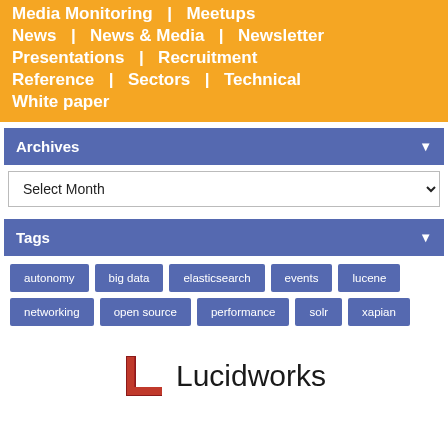Media Monitoring | Meetups | News | News & Media | Newsletter | Presentations | Recruitment | Reference | Sectors | Technical | White paper
Archives
Select Month
Tags
autonomy
big data
elasticsearch
events
lucene
networking
open source
performance
solr
xapian
[Figure (logo): Lucidworks logo with red L letter mark and Lucidworks text]